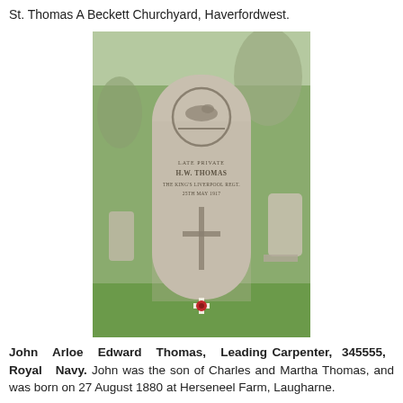St. Thomas A Beckett Churchyard, Haverfordwest.
[Figure (photo): Photograph of a Commonwealth War Graves Commission headstone in a churchyard. The stone has a carved regimental badge at the top, inscription text in the middle, a cross below, and a small red poppy cross memorial at the base. The grave is set in green grass with other headstones and bare trees visible in the background.]
John Arloe Edward Thomas, Leading Carpenter, 345555, Royal Navy. John was the son of Charles and Martha Thomas, and was born on 27 August 1880 at Herseneel Farm, Laugharne.